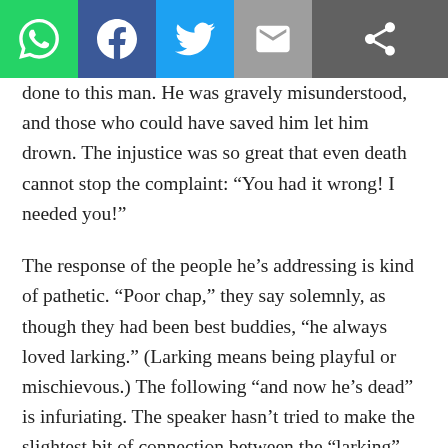[Figure (screenshot): Social media sharing toolbar with WhatsApp, Facebook, Twitter, email, and share icons]
done to this man. He was gravely misunderstood, and those who could have saved him let him drown. The injustice was so great that even death cannot stop the complaint: “You had it wrong! I needed you!”
The response of the people he’s addressing is kind of pathetic. “Poor chap,” they say solemnly, as though they had been best buddies, “he always loved larking.” (Larking means being playful or mischievous.) The following “and now he’s dead” is infuriating. The speaker hasn’t tried to make the slightest bit of connection between the “larking” and the death. The half-explanation that follows — “It must have been too cold for him his heart gave way” — makes it clear that not only didn’t they know he was trying to get their attention, they didn’t even know, even after his